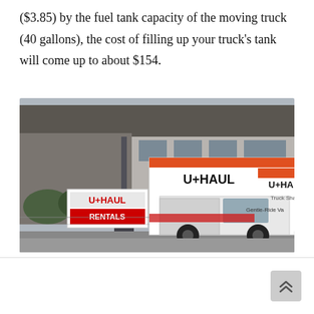($3.85) by the fuel tank capacity of the moving truck (40 gallons), the cost of filling up your truck’s tank will come up to about $154.
[Figure (photo): A U-Haul moving truck parked near a U-Haul Rentals sign. The white truck has the U-Haul logo visible on the side. A residential building and trees are visible in the background.]